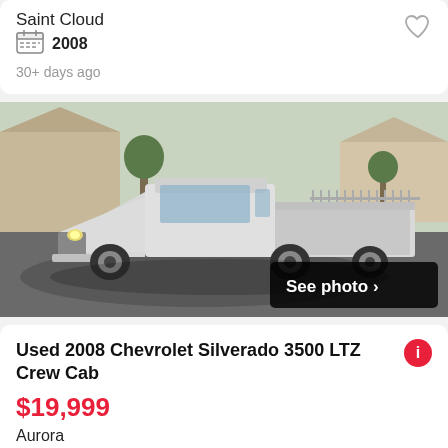Saint Cloud
2008
30+ days ago
[Figure (photo): White Chevrolet Silverado 3500 crew cab truck parked on a suburban street with houses and trees in background. A 'See photo >' overlay button appears in the bottom right of the image.]
Used 2008 Chevrolet Silverado 3500 LTZ Crew Cab
$19,999
Aurora
2008